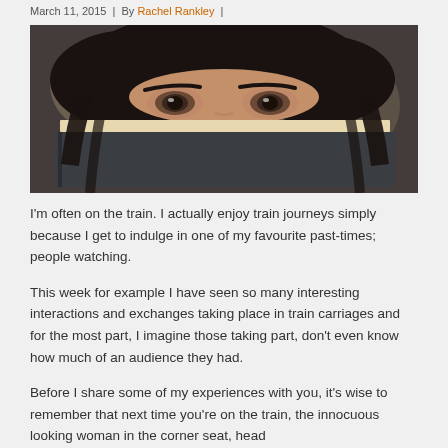March 11, 2015  |  By Rachel Rankley  |
[Figure (photo): Close-up photo of a person with dark hair peeking over the top of a book, with only eyes and forehead visible above the book cover.]
I'm often on the train. I actually enjoy train journeys simply because I get to indulge in one of my favourite past-times; people watching.
This week for example I have seen so many interesting interactions and exchanges taking place in train carriages and for the most part, I imagine those taking part, don't even know how much of an audience they had.
Before I share some of my experiences with you, it's wise to remember that next time you're on the train, the innocuous looking woman in the corner seat, head